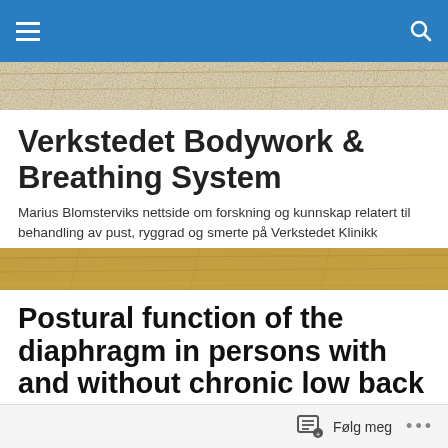Navigation bar with hamburger menu and search icon
[Figure (photo): Decorative banner image with a sandy/stone texture background]
Verkstedet Bodywork & Breathing System
Marius Blomsterviks nettside om forskning og kunnskap relatert til behandling av pust, ryggrad og smerte på Verkstedet Klinikk
[Figure (photo): Decorative banner image with a sandy/stone texture background]
Postural function of the diaphragm in persons with and without chronic low back pain.
Denen Studien beskriver på en svært god måte hvordan
Følg meg